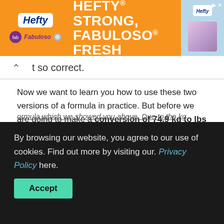[Figure (other): Hefty brand advertisement banner with orange background showing 'HEFTY STRONG, FABULOSO FRESH' text with Hefty and Fabuloso logos and product image on right]
t so correct.
Now we want to learn you how to use these two versions of a formula in practice. But before we are going to make a conversion of 74.9 kg to lbs we want to show you easier way to know 74.9 kg to how many lbs without any effort.
74.9 kg to lbs converter
Another way to check what is 74.9 kilogram equal to in
By browsing our website, you agree to our use of cookies. Find out more by visiting our. Privacy Policy here.
ormula which we showed you above. Due to the kg